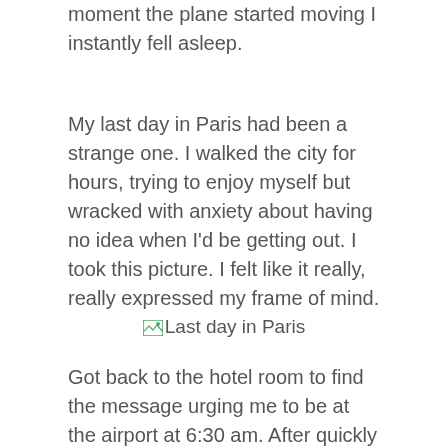moment the plane started moving I instantly fell asleep.
My last day in Paris had been a strange one. I walked the city for hours, trying to enjoy myself but wracked with anxiety about having no idea when I'd be getting out. I took this picture. I felt like it really, really expressed my frame of mind.
[Figure (photo): Last day in Paris — a photo taken by the author expressing their frame of mind]
Got back to the hotel room to find the message urging me to be at the airport at 6:30 am. After quickly packing, I met John for a drink and told him of my pending departure. He still had no ticket out and was not in a good mood.